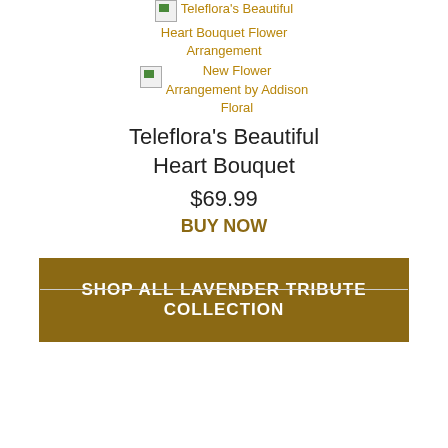Teleflora's Beautiful Heart Bouquet Flower Arrangement
[Figure (photo): Broken image placeholder with small green triangle icon]
New Flower Arrangement by Addison Floral
Teleflora's Beautiful Heart Bouquet
$69.99
BUY NOW
SHOP ALL LAVENDER TRIBUTE COLLECTION